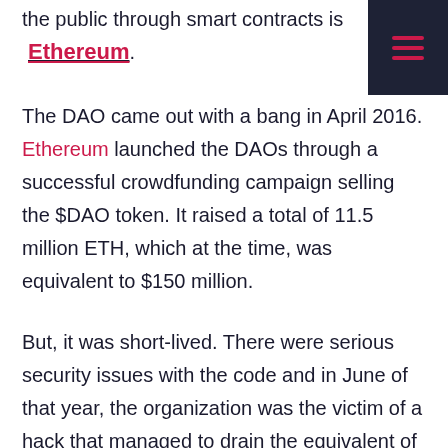the public through smart contracts is Ethereum.
The DAO came out with a bang in April 2016. Ethereum launched the DAOs through a successful crowdfunding campaign selling the $DAO token. It raised a total of 11.5 million ETH, which at the time, was equivalent to $150 million.
But, it was short-lived. There were serious security issues with the code and in June of that year, the organization was the victim of a hack that managed to drain the equivalent of $50 million from its "vault."